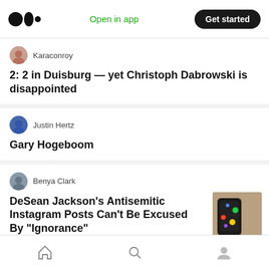Medium logo | Open in app | Get started
Karaconroy — 2: 2 in Duisburg — yet Christoph Dabrowski is disappointed
Justin Hertz — Gary Hogeboom
Benya Clark — DeSean Jackson's Antisemitic Instagram Posts Can't Be Excused By "Ignorance"
Alex Brotherton — Part 1: Malaga's magical journey
Home | Search | Profile